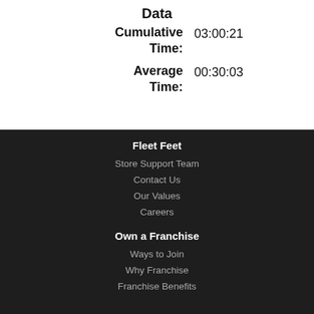Data
Cumulative Time: 03:00:21
Average Time: 00:30:03
Fleet Feet
Store Support Team
Contact Us
Our Values
Careers
Own a Franchise
Ways to Join
Why Franchise
Franchise Benefits